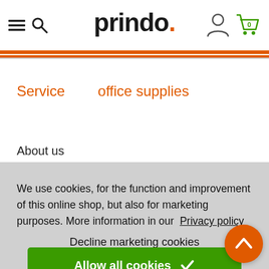[Figure (logo): Prindo logo with hamburger menu, search icon, user icon, and cart icon with 0]
Service    office supplies
About us
We use cookies, for the function and improvement of this online shop, but also for marketing purposes. More information in our Privacy policy
Decline marketing cookies
Allow all cookies ✓